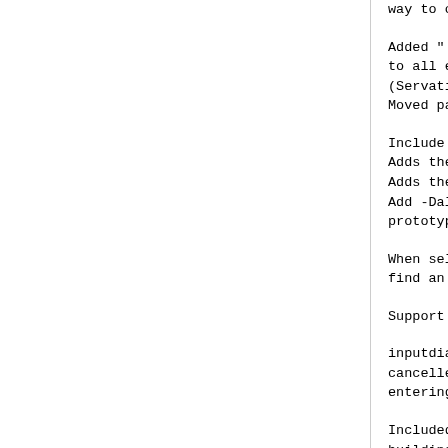way to convert text to HTML.
Added ":try" / ":catch" / ":fina to all error messages, so that (Servatius Brandt) Moved part of ex_docmd.c to the
Include support for GTK+ 2.2.x Adds the "~" register: drag & d Adds the 'toolbariconsize' opti Add -Dalloca when running lint prototype.
When selecting an item in the e find an ordinary window to show
Support for PostScript printing
inputdialog() accepts a third a cancelled.  Makes it possible t entering nothing.
Included Aap recipes.  Can be u building and installing.
"/" option in 'cinoptions': ext